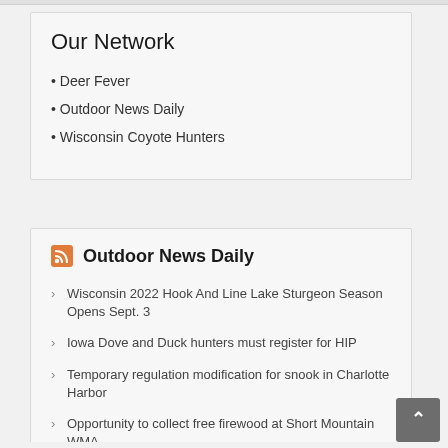Our Network
Deer Fever
Outdoor News Daily
Wisconsin Coyote Hunters
Outdoor News Daily
Wisconsin 2022 Hook And Line Lake Sturgeon Season Opens Sept. 3
Iowa Dove and Duck hunters must register for HIP
Temporary regulation modification for snook in Charlotte Harbor
Opportunity to collect free firewood at Short Mountain WMA